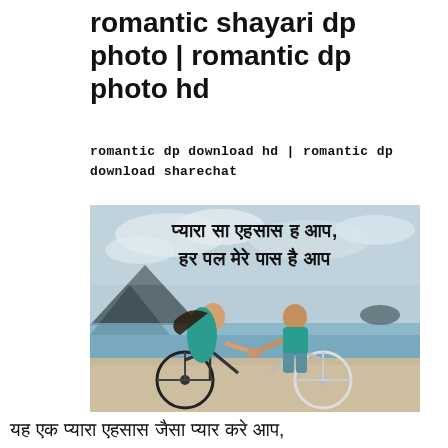romantic shayari dp photo | romantic dp photo hd
romantic dp download hd | romantic dp download sharechat
[Figure (photo): A couple riding bicycles on a beach, holding hands, facing each other. Hindi text overlay reads: प्यारा सा एहसास ह आप, हर पल मेरे पास है आप]
यह एक प्यारा एहसास जैसा प्यार करे आप,